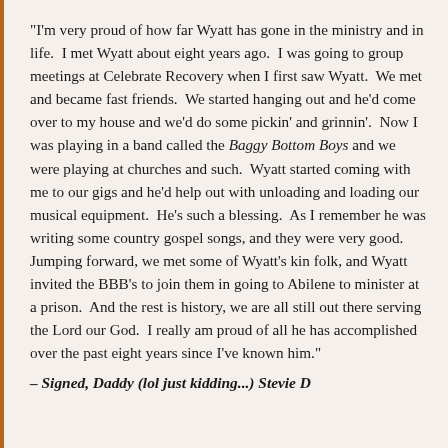"I'm very proud of how far Wyatt has gone in the ministry and in life. I met Wyatt about eight years ago. I was going to group meetings at Celebrate Recovery when I first saw Wyatt. We met and became fast friends. We started hanging out and he'd come over to my house and we'd do some pickin' and grinnin'. Now I was playing in a band called the Baggy Bottom Boys and we were playing at churches and such. Wyatt started coming with me to our gigs and he'd help out with unloading and loading our musical equipment. He's such a blessing. As I remember he was writing some country gospel songs, and they were very good. Jumping forward, we met some of Wyatt's kin folk, and Wyatt invited the BBB's to join them in going to Abilene to minister at a prison. And the rest is history, we are all still out there serving the Lord our God. I really am proud of all he has accomplished over the past eight years since I've known him."
– Signed, Daddy (lol just kidding...) Stevie D